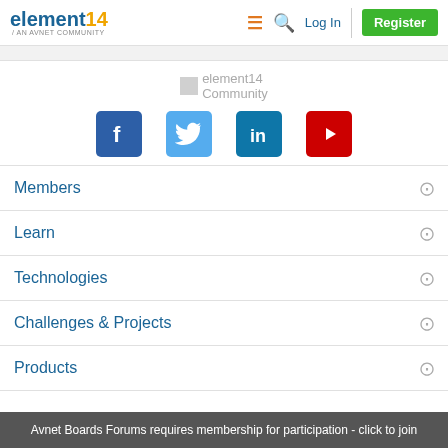element14 / AN AVNET COMMUNITY | Log In | Register
[Figure (logo): element14 Community logo placeholder]
[Figure (infographic): Social media icons: Facebook, Twitter, LinkedIn, YouTube]
Members
Learn
Technologies
Challenges & Projects
Products
Avnet Boards Forums requires membership for participation - click to join